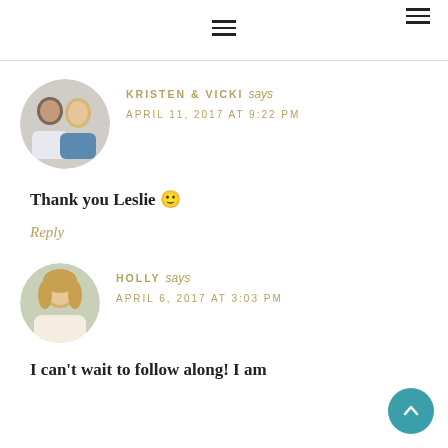≡ (hamburger menu icons)
KRISTEN & VICKI says
APRIL 11, 2017 AT 9:22 PM
Thank you Leslie 🙂
Reply
HOLLY says
APRIL 6, 2017 AT 3:03 PM
I can't wait to follow along! I am